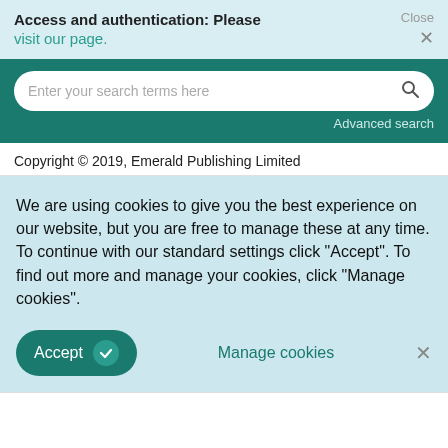Access and authentication: Please visit our page.
Enter your search terms here
Advanced search
Copyright © 2019, Emerald Publishing Limited
We are using cookies to give you the best experience on our website, but you are free to manage these at any time. To continue with our standard settings click "Accept". To find out more and manage your cookies, click "Manage cookies".
Accept
Manage cookies